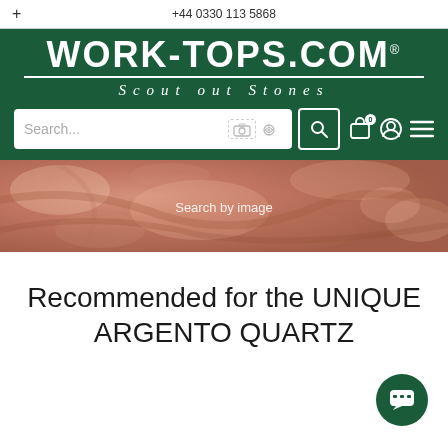+    +44 0330 113 5868
[Figure (logo): WORK-TOPS.COM logo with tagline 'Scout out Stones' on dark green background with search bar]
[Figure (photo): Close-up photo of Argento Quartz stone surface with reddish-brown mottled texture, overlaid with 'Search by image' text]
Recommended for the UNIQUE ARGENTO QUARTZ